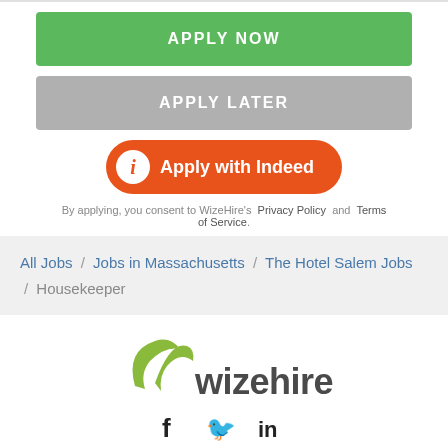APPLY NOW
APPLY LATER
Apply with Indeed
By applying, you consent to WizeHire's Privacy Policy and Terms of Service.
All Jobs / Jobs in Massachusetts / The Hotel Salem Jobs / Housekeeper
[Figure (logo): WizeHire logo with green leaf icon and gray text]
[Figure (other): Social media icons: Facebook, Twitter, LinkedIn]